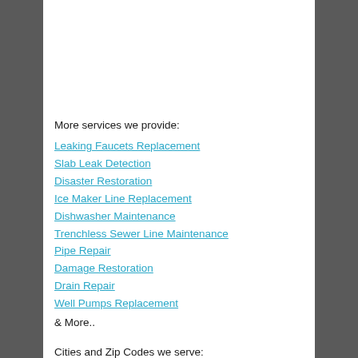More services we provide:
Leaking Faucets Replacement
Slab Leak Detection
Disaster Restoration
Ice Maker Line Replacement
Dishwasher Maintenance
Trenchless Sewer Line Maintenance
Pipe Repair
Damage Restoration
Drain Repair
Well Pumps Replacement
& More..
Cities and Zip Codes we serve: